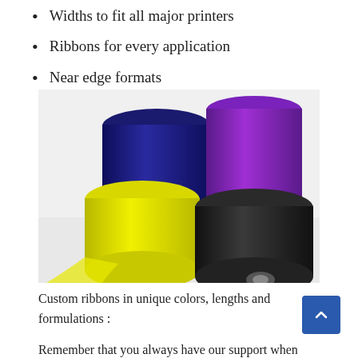Widths to fit all major printers
Ribbons for every application
Near edge formats
[Figure (photo): Four colorful thermal transfer ribbon rolls — dark blue/navy, purple, yellow, and black — arranged on a white background, showing their cylindrical form with ribbon unwinding.]
Custom ribbons in unique colors, lengths and formulations :
Remember that you always have our support when